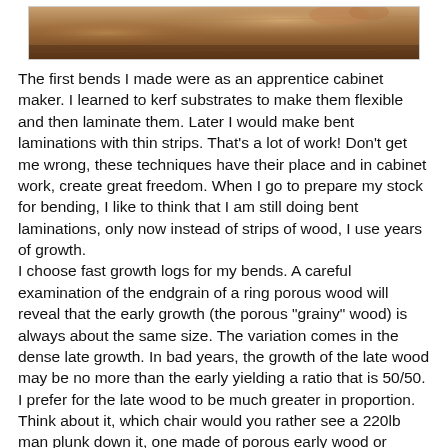[Figure (photo): Partial photo of wood or cabinet making work, showing warm brown tones, cropped at top of page.]
The first bends I made were as an apprentice cabinet maker. I learned to kerf substrates to make them flexible and then laminate them. Later I would make bent laminations with thin strips. That's a lot of work! Don't get me wrong, these techniques have their place and in cabinet work, create great freedom. When I go to prepare my stock for bending, I like to think that I am still doing bent laminations, only now instead of strips of wood, I use years of growth.
I choose fast growth logs for my bends. A careful examination of the endgrain of a ring porous wood will reveal that the early growth (the porous "grainy" wood) is always about the same size. The variation comes in the dense late growth. In bad years, the growth of the late wood may be no more than the early yielding a ratio that is 50/50. I prefer for the late wood to be much greater in proportion. Think about it, which chair would you rather see a 220lb man plunk down it, one made of porous early wood or dense late wood?
Once I have split my stock, I proceed to follow the fiber with my drawknife and shape the piece. This is where you will actually be deciding if your bend will succeed (I am referring